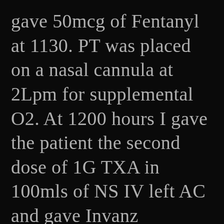gave 50mcg of Fentanyl at 1130. PT was placed on a nasal cannula at 2Lpm for supplemental O2. At 1200 hours I gave the patient the second dose of 1G TXA in 100mls of NS IV left AC and gave Invanz antibiotic IM, after learning that the third attempt to evacuate the patient had been aborted due to a crewmember being injured while